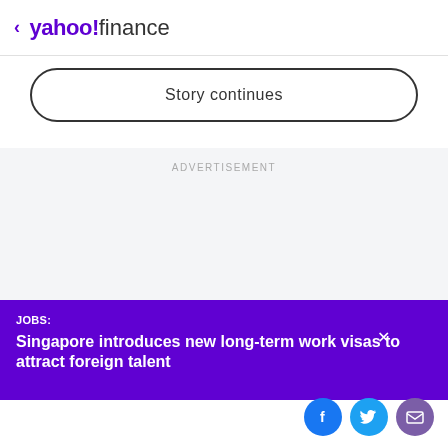< yahoo!finance
Story continues
ADVERTISEMENT
JOBS:
Singapore introduces new long-term work visas to attract foreign talent
[Figure (illustration): Social share icons: Facebook (blue circle with f), Twitter (light blue circle with bird), Email (purple circle with envelope)]